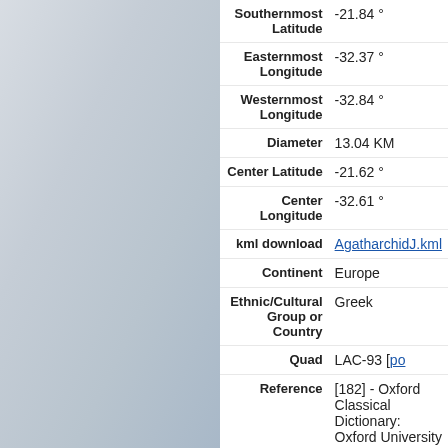| Field | Value |
| --- | --- |
| Southernmost Latitude | -21.84 ° |
| Easternmost Longitude | -32.37 ° |
| Westernmost Longitude | -32.84 ° |
| Diameter | 13.04 KM |
| Center Latitude | -21.62 ° |
| Center Longitude | -32.61 ° |
| kml download | AgatharchidJ.kml |
| Continent | Europe |
| Ethnic/Cultural Group or Country | Greek |
| Quad | LAC-93 [po...] |
| Reference | [182] - Oxford Classical Dictionary: Oxford University Press, London 1968. |
| Approval Status | Adopted by IAU |
| Approval Date | 2006 |